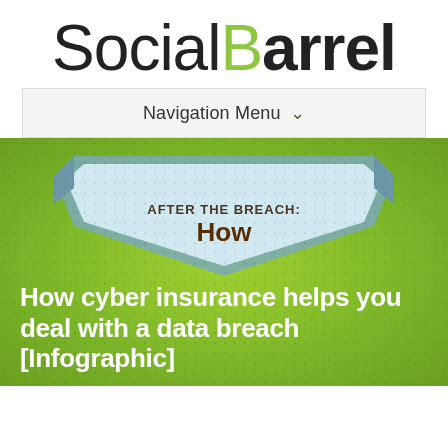SocialBarrel
Navigation Menu ∨
[Figure (infographic): Green textured background with a shield/badge shape in light blue and white containing the text 'AFTER THE BREACH: How', and a large bold white article title below reading 'How cyber insurance helps you deal with a data breach [Infographic]']
How cyber insurance helps you deal with a data breach [Infographic]